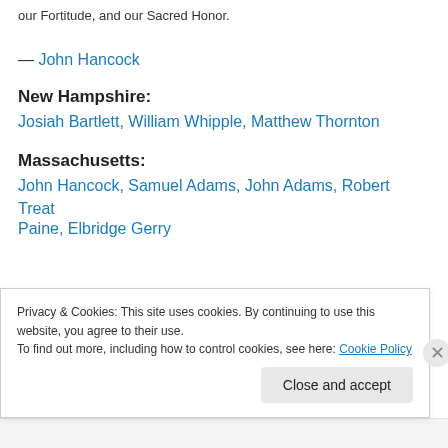our Fortitude, and our Sacred Honor.
— John Hancock
New Hampshire:
Josiah Bartlett, William Whipple, Matthew Thornton
Massachusetts:
John Hancock, Samuel Adams, John Adams, Robert Treat Paine, Elbridge Gerry
Privacy & Cookies: This site uses cookies. By continuing to use this website, you agree to their use.
To find out more, including how to control cookies, see here: Cookie Policy